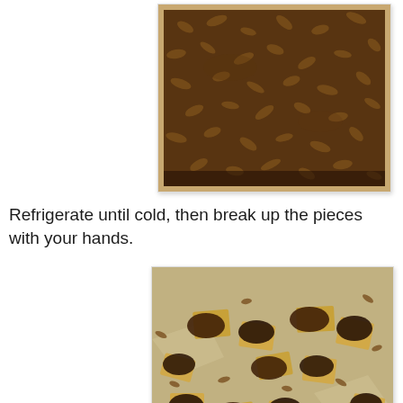[Figure (photo): Photo of a baking sheet lined with foil showing crackers topped with chocolate and chopped pecans, viewed from above.]
Refrigerate until cold, then break up the pieces with your hands.
[Figure (photo): Photo of broken pieces of chocolate pecan cracker bark on a foil-lined baking sheet.]